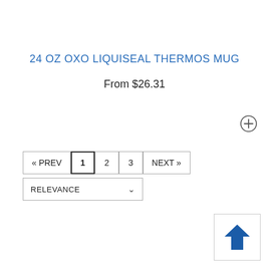24 OZ OXO LIQUISEAL THERMOS MUG
From $26.31
[Figure (other): Circled plus button icon for adding item]
« PREV  1  2  3  NEXT »
RELEVANCE
[Figure (other): Back to top arrow button — blue upward arrow in a white box with border]